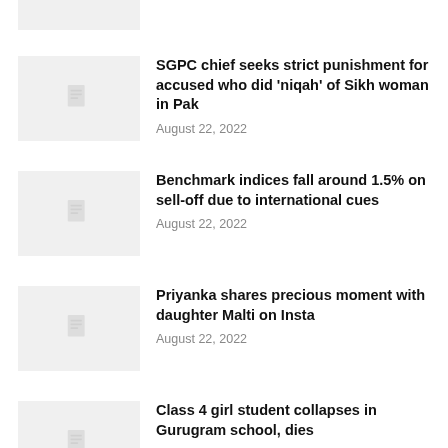[Figure (illustration): Placeholder thumbnail image with document icon at top of list]
SGPC chief seeks strict punishment for accused who did ‘niqah’ of Sikh woman in Pak
August 22, 2022
[Figure (illustration): Placeholder thumbnail image with document icon]
Benchmark indices fall around 1.5% on sell-off due to international cues
August 22, 2022
[Figure (illustration): Placeholder thumbnail image with document icon]
Priyanka shares precious moment with daughter Malti on Insta
August 22, 2022
[Figure (illustration): Placeholder thumbnail image with document icon]
Class 4 girl student collapses in Gurugram school, dies
August 22, 2022